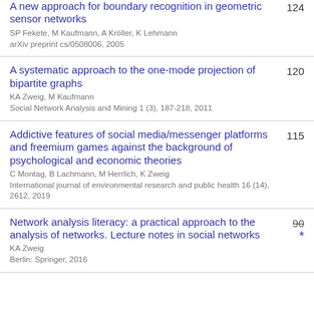A new approach for boundary recognition in geometric sensor networks
A systematic approach to the one-mode projection of bipartite graphs
Addictive features of social media/messenger platforms and freemium games against the background of psychological and economic theories
Network analysis literacy: a practical approach to the analysis of networks. Lecture notes in social networks